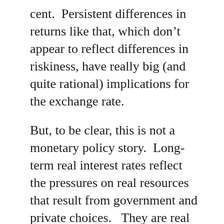cent.  Persistent differences in returns like that, which don't appear to reflect differences in riskiness, have really big (and quite rational) implications for the exchange rate.
But, to be clear, this is not a monetary policy story.  Long-term real interest rates reflect the pressures on real resources that result from government and private choices.   They are real phenomena, not monetary ones.
For those who haven't come across my story in this area before, much of it is elaborated in this paper. I included there some charts suggesting that the strength of the real exchange rate, relative to underlying economic performance, is not just an issue for comparisons against